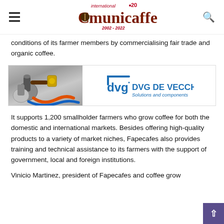international • 20 Comunicaffe 2002-2022
conditions of its farmer members by commercialising fair trade and organic coffee.
[Figure (photo): Advertisement banner for DVG De Vecchi showing espresso machine parts on the left and the DVG De Vecchi logo with tagline 'Solutions and components' on the right]
It supports 1,200 smallholder farmers who grow coffee for both the domestic and international markets. Besides offering high-quality products to a variety of market niches, Fapecafes also provides training and technical assistance to its farmers with the support of government, local and foreign institutions.
Vinicio Martinez, president of Fapecafes and coffee grow